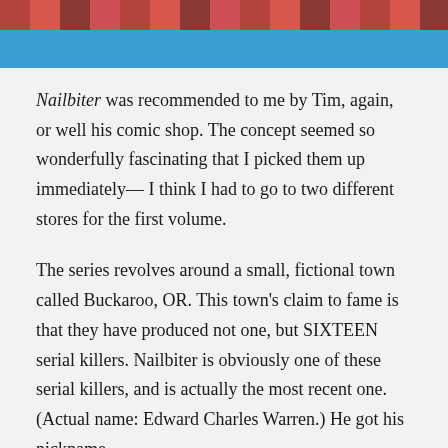[Figure (illustration): Top portion of a comic book page showing characters with red/pink floral elements against a blue background, partially cropped at the top of the page.]
Nailbiter was recommended to me by Tim, again, or well his comic shop. The concept seemed so wonderfully fascinating that I picked them up immediately— I think I had to go to two different stores for the first volume.
The series revolves around a small, fictional town called Buckaroo, OR. This town's claim to fame is that they have produced not one, but SIXTEEN serial killers. Nailbiter is obviously one of these serial killers, and is actually the most recent one. (Actual name: Edward Charles Warren.) He got his nickname